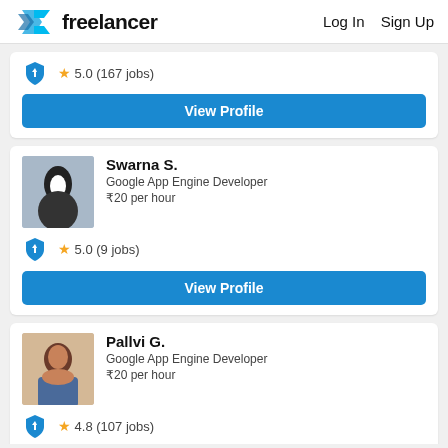freelancer  Log In  Sign Up
★ 5.0 (167 jobs)
View Profile
Swarna S.
Google App Engine Developer
₹20 per hour
★ 5.0 (9 jobs)
View Profile
Pallvi G.
Google App Engine Developer
₹20 per hour
★ 4.8 (107 jobs)
View Profile